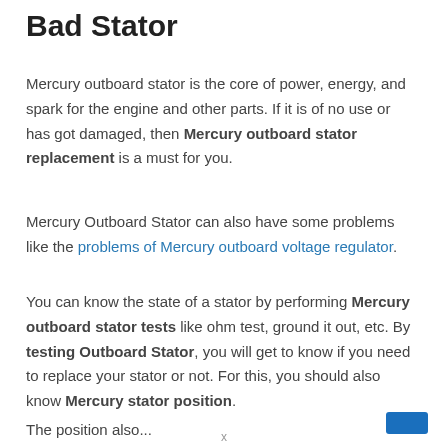Bad Stator
Mercury outboard stator is the core of power, energy, and spark for the engine and other parts. If it is of no use or has got damaged, then Mercury outboard stator replacement is a must for you.
Mercury Outboard Stator can also have some problems like the problems of Mercury outboard voltage regulator.
You can know the state of a stator by performing Mercury outboard stator tests like ohm test, ground it out, etc. By testing Outboard Stator, you will get to know if you need to replace your stator or not. For this, you should also know Mercury stator position.
The position also...